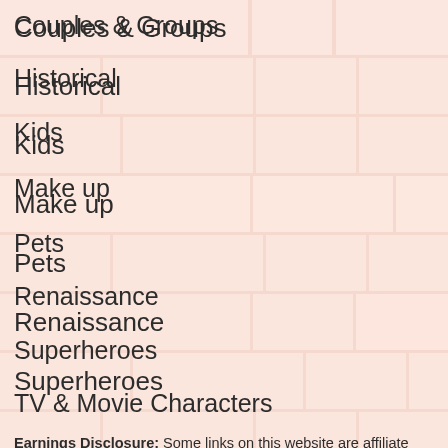Couples & Groups
Historical
Kids
Make up
Pets
Renaissance
Superheroes
TV & Movie Characters
Earnings Disclosure: Some links on this website are affiliate links. That means we might earn a commission if you click or purchase through those links. The price you pay WILL be the same. However, by using our affiliate links you are helping support our website. We really appreciate your support. Thank you!